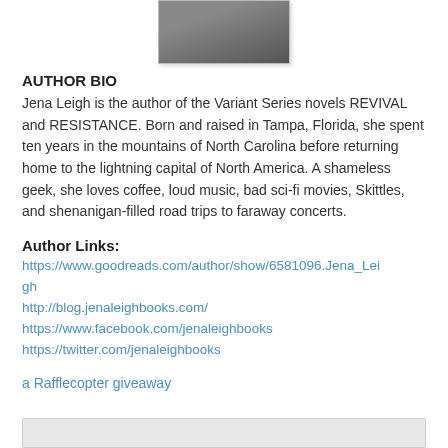[Figure (photo): Author photo cropped at top of page]
AUTHOR BIO
Jena Leigh is the author of the Variant Series novels REVIVAL and RESISTANCE. Born and raised in Tampa, Florida, she spent ten years in the mountains of North Carolina before returning home to the lightning capital of North America. A shameless geek, she loves coffee, loud music, bad sci-fi movies, Skittles, and shenanigan-filled road trips to faraway concerts.
Author Links:
https://www.goodreads.com/author/show/6581096.Jena_Leigh
http://blog.jenaleighbooks.com/
https://www.facebook.com/jenaleighbooks
https://twitter.com/jenaleighbooks
a Rafflecopter giveaway
[Figure (other): Bottom bordered box/widget area]